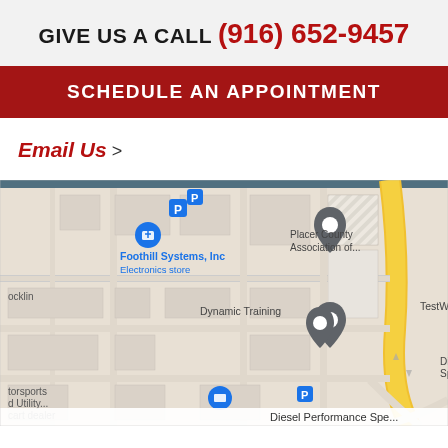GIVE US A CALL (916) 652-9457
SCHEDULE AN APPOINTMENT
Email Us >
[Figure (map): Google Maps view showing Diesel Performance Specialist, Foothill Systems Inc (Electronics store), TestWorld Inc, Dynamic Training, Placer County Association of..., and other nearby locations in Rocklin area with street map.]